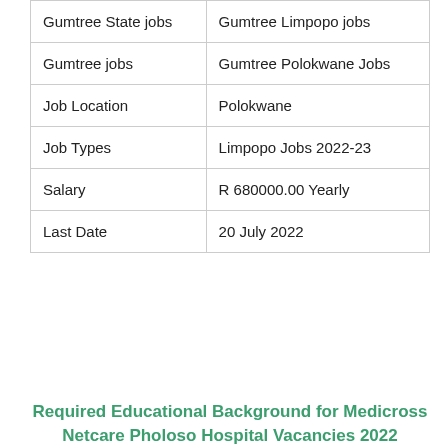| Gumtree State jobs | Gumtree Limpopo jobs |
| Gumtree jobs | Gumtree Polokwane Jobs |
| Job Location | Polokwane |
| Job Types | Limpopo Jobs 2022-23 |
| Salary | R 680000.00 Yearly |
| Last Date | 20 July 2022 |
Required Educational Background for Medicross Netcare Pholoso Hospital Vacancies 2022